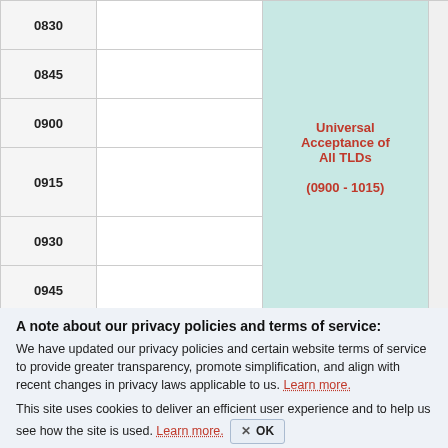| Time |  | Universal Acceptance of All TLDs | NCSG Executive Committee Meeting [C] | RyS... Ma... Con... Mee... |
| --- | --- | --- | --- | --- |
| 0830 |  |  |  | (080... |
| 0845 |  |  |  |  |
| 0900 |  |  |  |  |
| 0915 |  | Universal Acceptance of All TLDs | NCSG Executive Committee Meeting [C] |  |
| 0930 |  | (0900 - 1015) | (0830 - 1030) | RyS... Ma... Con... Mee... |
| 0945 |  |  |  |  |
| 1000 |  |  |  | (093... |
| 1015 |  | COFFEE |  |  |
A note about our privacy policies and terms of service:
We have updated our privacy policies and certain website terms of service to provide greater transparency, promote simplification, and align with recent changes in privacy laws applicable to us. Learn more.
This site uses cookies to deliver an efficient user experience and to help us see how the site is used. Learn more. OK